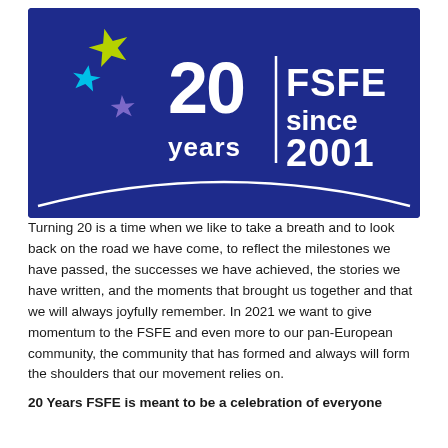[Figure (logo): FSFE 20 Years anniversary logo on dark blue background. Shows colorful star shapes (yellow-green, cyan, purple) alongside bold white text '20 years | FSFE since 2001' and a white arc/horizon line at the bottom.]
Turning 20 is a time when we like to take a breath and to look back on the road we have come, to reflect the milestones we have passed, the successes we have achieved, the stories we have written, and the moments that brought us together and that we will always joyfully remember. In 2021 we want to give momentum to the FSFE and even more to our pan-European community, the community that has formed and always will form the shoulders that our movement relies on.
20 Years FSFE is meant to be a celebration of everyone